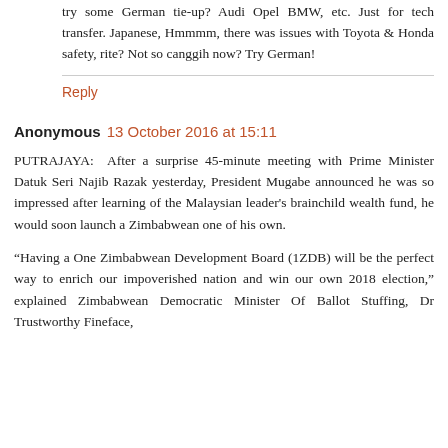try some German tie-up? Audi Opel BMW, etc. Just for tech transfer. Japanese, Hmmmm, there was issues with Toyota & Honda safety, rite? Not so canggih now? Try German!
Reply
Anonymous  13 October 2016 at 15:11
PUTRAJAYA: After a surprise 45-minute meeting with Prime Minister Datuk Seri Najib Razak yesterday, President Mugabe announced he was so impressed after learning of the Malaysian leader's brainchild wealth fund, he would soon launch a Zimbabwean one of his own.
“Having a One Zimbabwean Development Board (1ZDB) will be the perfect way to enrich our impoverished nation and win our own 2018 election,” explained Zimbabwean Democratic Minister Of Ballot Stuffing, Dr Trustworthy Fineface,